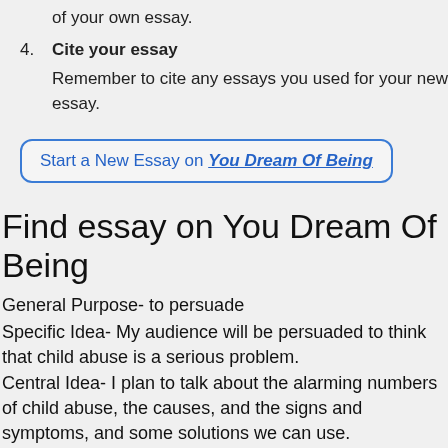of your own essay.
4. Cite your essay
Remember to cite any essays you used for your new essay.
Start a New Essay on You Dream Of Being
Find essay on You Dream Of Being
General Purpose- to persuade
Specific Idea- My audience will be persuaded to think that child abuse is a serious problem.
Central Idea- I plan to talk about the alarming numbers of child abuse, the causes, and the signs and symptoms, and some solutions we can use.
Introduction